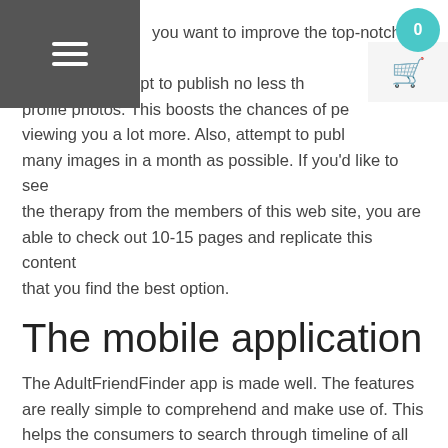you want to improve the top-notch your own, make an attempt to publish no less than three profile photos. This boosts the chances of people viewing you a lot more. Also, attempt to publish as many images in a month as possible. If you'd like to see the therapy from the members of this web site, you are able to check out 10-15 pages and replicate this content that you find the best option.
The mobile application
The AdultFriendFinder app is made well. The features are really simple to comprehend and make use of. This helps the consumers to search through timeline of all of the functions with no issue. It's available without charge both in the App Store and Google Play.
The father or mother organization, FriendFinder system, has generated a general software hooking up users from